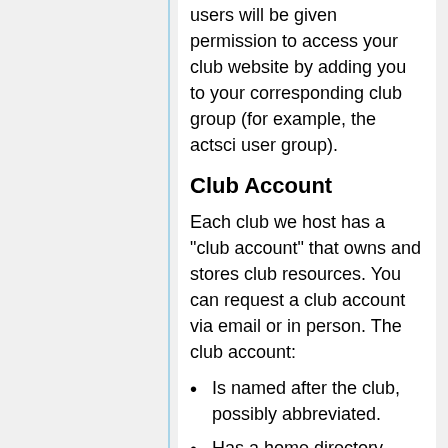users will be given permission to access your club website by adding you to your corresponding club group (for example, the actsci user group).
Club Account
Each club we host has a "club account" that owns and stores club resources. You can request a club account via email or in person. The club account:
Is named after the club, possibly abbreviated.
Has a home directory named /users/clubname, where club files are stored.
Is not permitted to log in. You must use your own user account to login.
The Systems Committee will create club accounts when sent a request from the club email address.